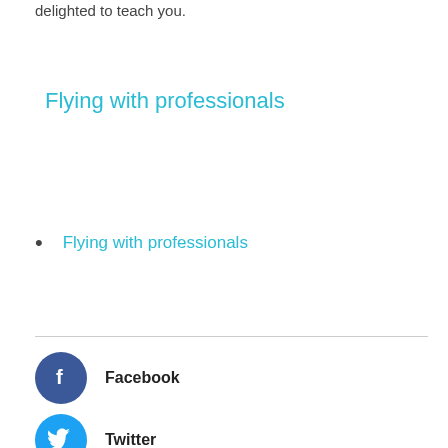delighted to teach you.
Flying with professionals
Flying with professionals
Facebook
Twitter